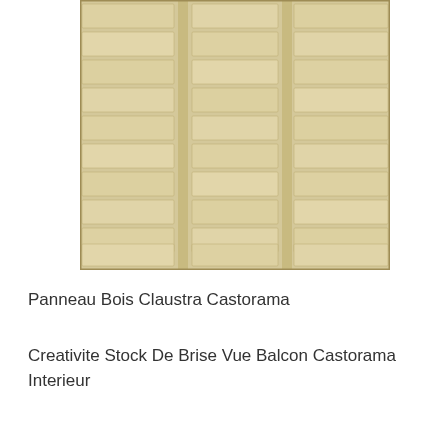[Figure (photo): A wooden fence panel (claustra/louvered style) with horizontal slats arranged in a grid pattern, natural light wood color, photographed from the front.]
Panneau Bois Claustra Castorama
Creativite Stock De Brise Vue Balcon Castorama Interieur